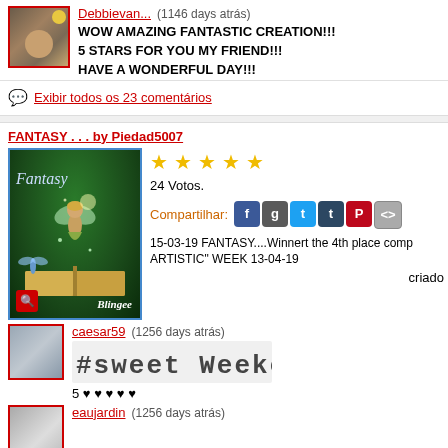Debbievan... (1146 days atrás)
WOW AMAZING FANTASTIC CREATION!!! 5 STARS FOR YOU MY FRIEND!!! HAVE A WONDERFUL DAY!!!
Exibir todos os 23 comentários
FANTASY . . . by Piedad5007
[Figure (photo): Blingee fantasy image showing a fairy with wings standing on an open book in a magical forest, with sparkles and light effects. The word 'Fantasy' appears in cursive text. Blingee watermark at bottom right, red search icon at bottom left.]
24 Votos.
criado
Compartilhar:
15-03-19 FANTASY....Winnert the 4th place comp ARTISTIC" WEEK 13-04-19
caesar59 (1256 days atrás)
[Figure (illustration): Sweet Weekend stylized text image in blocky pixel/stamp font style]
5 ♥ ♥ ♥ ♥ ♥
eaujardin (1256 days atrás)